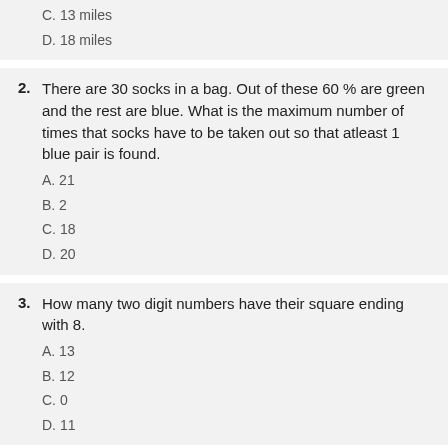C. 13 miles
D. 18 miles
2. There are 30 socks in a bag. Out of these 60 % are green and the rest are blue. What is the maximum number of times that socks have to be taken out so that atleast 1 blue pair is found.
A. 21
B. 2
C. 18
D. 20
3. How many two digit numbers have their square ending with 8.
A. 13
B. 12
C. 0
D. 11